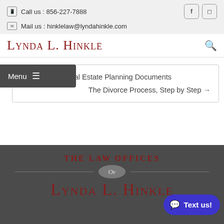Call us : 856-227-7888
Mail us : hinklelaw@lyndahinkle.com
Lynda L. Hinkle
← Three Essential Estate Planning Documents
The Divorce Process, Step by Step →
Menu
The Law Offices of Lynda L. Hinkle
Text us!